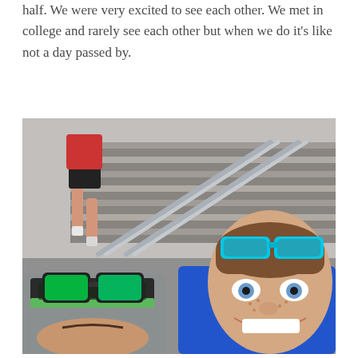half. We were very excited to see each other. We met in college and rarely see each other but when we do it's like not a day passed by.
[Figure (photo): A selfie of two women smiling at the camera in front of concrete stadium stairs with metal railings. One woman on the left wears a green-brimmed cap with green mirrored sunglasses on top and a patterned visor. The woman on the right wears a blue athletic top with turquoise-framed sunglasses on her head. In the background, a runner in red top and black shorts is visible ascending the stairs.]